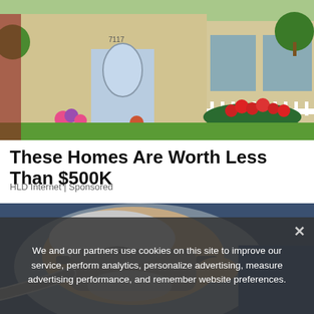[Figure (photo): Two suburban homes side by side with brick exteriors, flower gardens, green lawn, and white fence. Left house has decorative oval glass front door with address 7117.]
These Homes Are Worth Less Than $500K
HLD Internet | Sponsored
[Figure (photo): Close-up of an elderly man wearing a CPAP sleep apnea mask with grey tubing, being adjusted by someone in a blue shirt.]
We and our partners use cookies on this site to improve our service, perform analytics, personalize advertising, measure advertising performance, and remember website preferences.